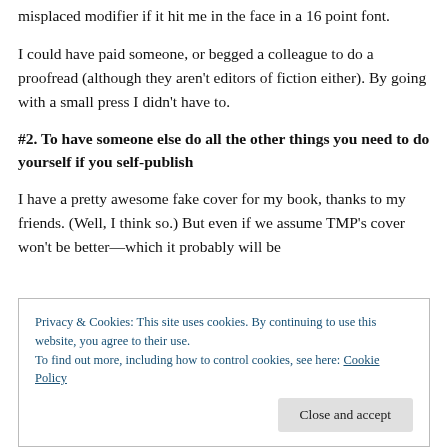misplaced modifier if it hit me in the face in a 16 point font.
I could have paid someone, or begged a colleague to do a proofread (although they aren't editors of fiction either). By going with a small press I didn't have to.
#2. To have someone else do all the other things you need to do yourself if you self-publish
I have a pretty awesome fake cover for my book, thanks to my friends. (Well, I think so.) But even if we assume TMP's cover won't be better—which it probably will be
Privacy & Cookies: This site uses cookies. By continuing to use this website, you agree to their use.
To find out more, including how to control cookies, see here: Cookie Policy
published. Even the big publishing houses don't do much